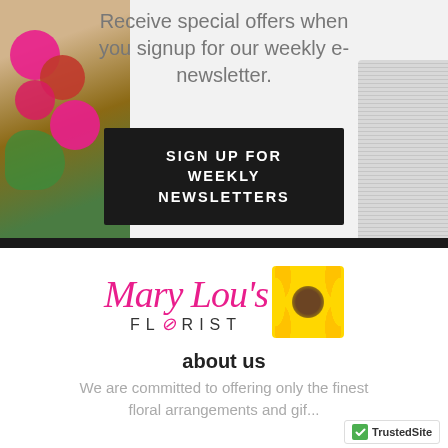Receive special offers when you signup for our weekly e-newsletter.
SIGN UP FOR WEEKLY NEWSLETTERS
[Figure (logo): Mary Lou's Florist logo with pink cursive script text and sunflower image]
about us
We are committed to offering only the finest floral arrangements and gif...
[Figure (logo): TrustedSite badge with green checkmark]